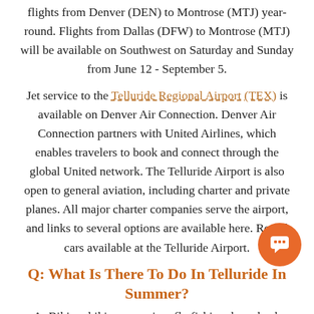flights from Denver (DEN) to Montrose (MTJ) year-round. Flights from Dallas (DFW) to Montrose (MTJ) will be available on Southwest on Saturday and Sunday from June 12 - September 5.
Jet service to the Telluride Regional Airport (TEX) is available on Denver Air Connection. Denver Air Connection partners with United Airlines, which enables travelers to book and connect through the global United network. The Telluride Airport is also open to general aviation, including charter and private planes. All major charter companies serve the airport, and links to several options are available here. Rental cars available at the Telluride Airport.
Q: What Is There To Do In Telluride In Summer?
A: Biking, hiking, camping, fly fishing, horseback riding,